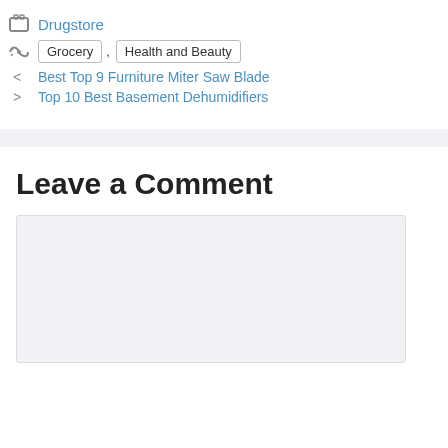Drugstore
Grocery , Health and Beauty
< Best Top 9 Furniture Miter Saw Blade
> Top 10 Best Basement Dehumidifiers
Leave a Comment
[Figure (other): Comment text area input box (empty, light gray background)]